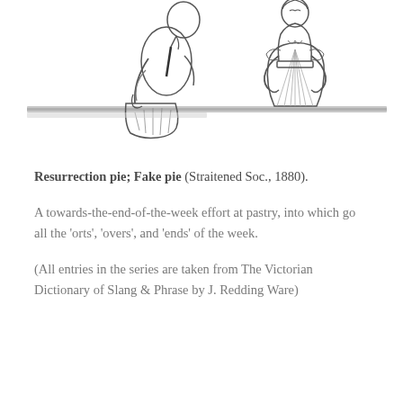[Figure (illustration): Black and white pen-and-ink style illustration showing two figures: on the left, a person leaning over a counter or table, reaching into a bag or pot; on the right, a woman in a Victorian-era dress with hands on hips.]
Resurrection pie; Fake pie (Straitened Soc., 1880).
A towards-the-end-of-the-week effort at pastry, into which go all the ‘orts’, ‘overs’, and ‘ends’ of the week.
(All entries in the series are taken from The Victorian Dictionary of Slang & Phrase by J. Redding Ware)